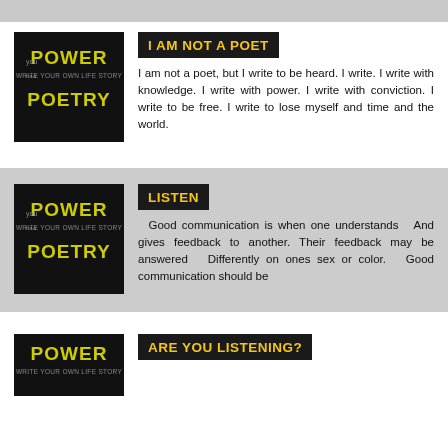[Figure (illustration): Power of Poetry book cover with text POWER WRITE YOUR OWN LIFE STORY POETRY in black background with yellow letters]
I AM NOT A POET
I am not a poet, but I write to be heard. I write. I write with knowledge. I write with power. I write with conviction. I write to be free. I write to lose myself and time and the world.
[Figure (illustration): Power of Poetry book cover with text POWER WRITE YOUR OWN LIFE STORY POETRY in black background with yellow letters]
LISTEN
Good communication is when one understands  And gives feedback to another. Their feedback may be answered  Differently on ones sex or color.  Good communication should be
[Figure (illustration): Power of Poetry book cover partial view]
ARE YOU LISTENING?